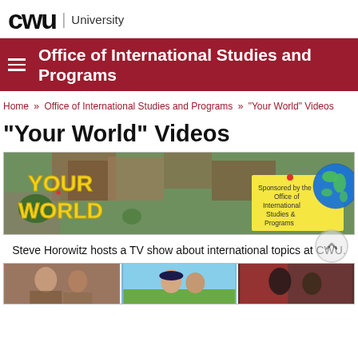CWU | University
Office of International Studies and Programs
Home » Office of International Studies and Programs » "Your World" Videos
"Your World" Videos
[Figure (photo): Your World banner image: aerial photo of university campus with yellow text 'YOUR WORLD', a sticky note reading 'Sponsored by the Office of International Studies & Programs', and a globe graphic]
Steve Horowitz hosts a TV show about international topics at CWU.
[Figure (photo): Three thumbnail images showing video stills of people]